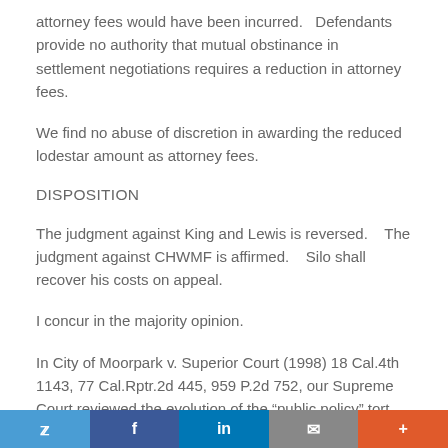attorney fees would have been incurred.   Defendants provide no authority that mutual obstinance in settlement negotiations requires a reduction in attorney fees.
We find no abuse of discretion in awarding the reduced lodestar amount as attorney fees.
DISPOSITION
The judgment against King and Lewis is reversed.    The judgment against CHWMF is affirmed.    Silo shall recover his costs on appeal.
I concur in the majority opinion.
In City of Moorpark v. Superior Court (1998) 18 Cal.4th 1143, 77 Cal.Rptr.2d 445, 959 P.2d 752, our Supreme Court reviewed the evolution of the “public policy” tort discussed in
Twitter | Facebook | LinkedIn | Email | +